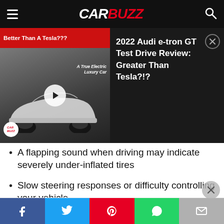CARBUZZ
[Figure (screenshot): Video thumbnail showing white Audi e-tron GT with red banner reading 'Better Than A Tesla???' and text 'A True Electric Luxury Car', with CarBuzz logo. Next to it: '2022 Audi e-tron GT Test Drive Review: Greater Than Tesla?!?' video title on dark background.]
A flapping sound when driving may indicate severely under-inflated tires
Slow steering responses or difficulty controlling your vehicle
It takes you longer than usual to come to a